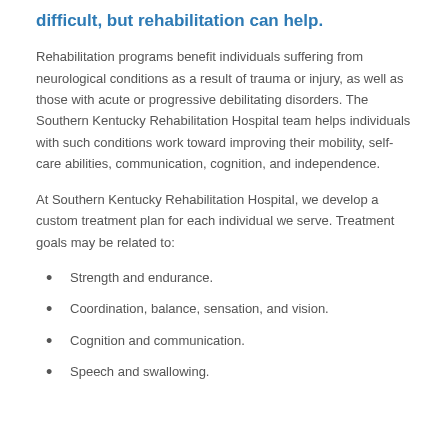difficult, but rehabilitation can help.
Rehabilitation programs benefit individuals suffering from neurological conditions as a result of trauma or injury, as well as those with acute or progressive debilitating disorders. The Southern Kentucky Rehabilitation Hospital team helps individuals with such conditions work toward improving their mobility, self-care abilities, communication, cognition, and independence.
At Southern Kentucky Rehabilitation Hospital, we develop a custom treatment plan for each individual we serve. Treatment goals may be related to:
Strength and endurance.
Coordination, balance, sensation, and vision.
Cognition and communication.
Speech and swallowing.